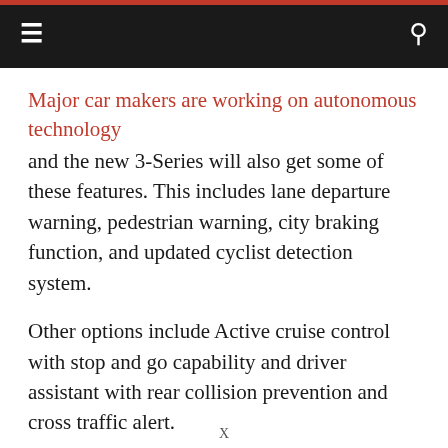≡  🔍
Major car makers are working on autonomous technology
and the new 3-Series will also get some of these features. This includes lane departure warning, pedestrian warning, city braking function, and updated cyclist detection system.
Other options include Active cruise control with stop and go capability and driver assistant with rear collision prevention and cross traffic alert.
The more advanced Driver Assistant Professional will also be offered. This controls the steering wheel and keeps the car in its designated lane. It also comes with Active Parking Assi...
X